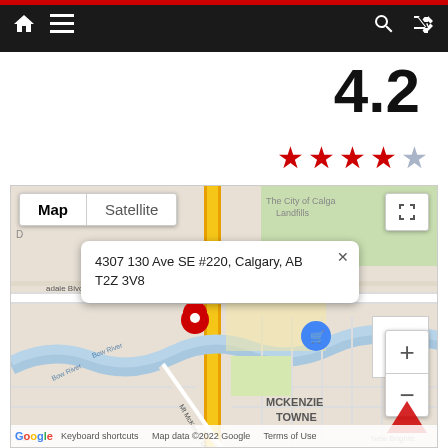Navigation bar with home, menu, search, and shuffle icons
4.2
[Figure (other): 4 red filled stars and 1 blue/grey unfilled star representing a 4.2 out of 5 rating]
[Figure (map): Google Maps view centered on 4307 130 Ave SE #220, Calgary, AB T2Z 3V8, showing McKenzie Towne area with Bow River, The Home Depot, Walmart Supercentre. Map/Satellite toggle at top left, fullscreen button top right, zoom +/- controls bottom right. Address popup visible.]